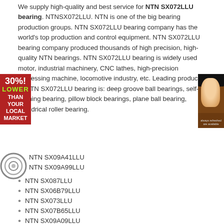We supply high-quality and best service for NTN SX072LLU bearing. NTNSX072LLU. NTN is one of the big bearing production groups. NTN SX072LLU bearing company has the world's top production and control equipment. NTN SX072LLU bearing company produced thousands of high precision, high-quality NTN bearings. NTN SX072LLU bearing is widely used motor, industrial machinery, CNC lathes, high-precision processing machine, locomotive industry, etc. Leading products of NTN SX072LLU bearing is: deep groove ball bearings, self-aligning bearing, pillow block bearings, plane ball bearing, cylindrical roller bearing.
NTN SX09A41LLU
NTN SX09A99LLU
NTN SX087LLU
NTN SX06B79LLU
NTN SX073LLU
NTN SX07B65LLU
NTN SX09A09LLU
NTN SX07ILLU
Packaging Details :
1 . Industrial tube packing + cartons + pallets
2 . Individual colorful or white box + carton + pallets
3 . As the clients ' requirement